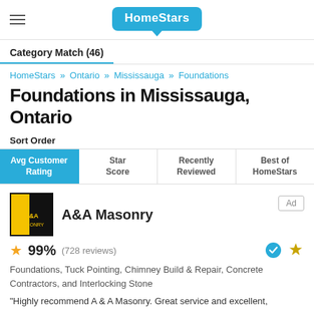HomeStars
Category Match (46)
HomeStars » Ontario » Mississauga » Foundations
Foundations in Mississauga, Ontario
Sort Order
| Avg Customer Rating | Star Score | Recently Reviewed | Best of HomeStars |
| --- | --- | --- | --- |
A&A Masonry
99% (728 reviews)
Foundations, Tuck Pointing, Chimney Build & Repair, Concrete Contractors, and Interlocking Stone
"Highly recommend A & A Masonry. Great service and excellent,